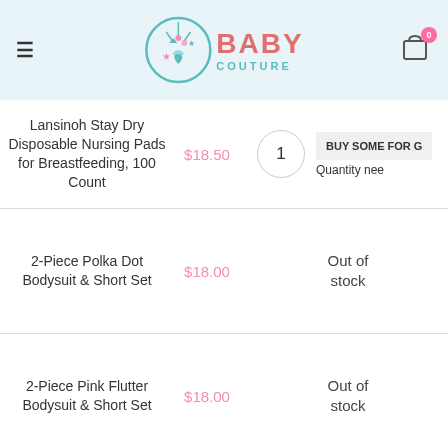[Figure (logo): Baby Couture logo with teal circular emblem and pink/teal text]
| Product | Price | Qty/Status | Action |
| --- | --- | --- | --- |
| Lansinoh Stay Dry Disposable Nursing Pads for Breastfeeding, 100 Count | $18.50 | 1 | BUY SOME FOR G... / Quantity nee... |
| 2-Piece Polka Dot Bodysuit & Short Set | $18.00 | Out of stock |  |
| 2-Piece Pink Flutter Bodysuit & Short Set | $18.00 | Out of stock |  |
| Flower Power Romper Sizes: 24- | $18.00 | 1 | BUY SO... G |